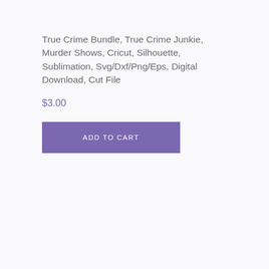True Crime Bundle, True Crime Junkie, Murder Shows, Cricut, Silhouette, Sublimation, Svg/Dxf/Png/Eps, Digital Download, Cut File
$3.00
[Figure (other): Purple 'ADD TO CART' button]